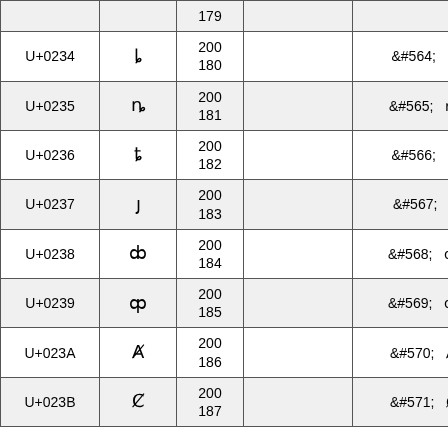| U+0234 | ȴ | 200
180 |  | &#564;  ȴ |
| U+0235 | ȵ | 200
181 |  | &#565;  ȵ |
| U+0236 | ȶ | 200
182 |  | &#566;  ȶ |
| U+0237 | ȷ | 200
183 |  | &#567;  ȷ |
| U+0238 | ȸ | 200
184 |  | &#568;  ȸ |
| U+0239 | ȹ | 200
185 |  | &#569;  ȹ |
| U+023A | Ⱥ | 200
186 |  | &#570;  Ⱥ |
| U+023B | Ȼ | 200
187 |  | &#571;  Ȼ |